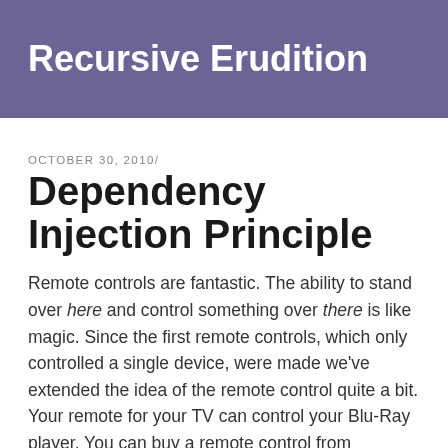Recursive Erudition
OCTOBER 30, 2010/
Dependency Injection Principle
Remote controls are fantastic. The ability to stand over here and control something over there is like magic. Since the first remote controls, which only controlled a single device, were made we've extended the idea of the remote control quite a bit. Your remote for your TV can control your Blu-Ray player. You can buy a remote control from Logitech that can be programmed to turn on your TV, set the sound on your stereo, and dim the lights in your TV room – all at the press of one button.